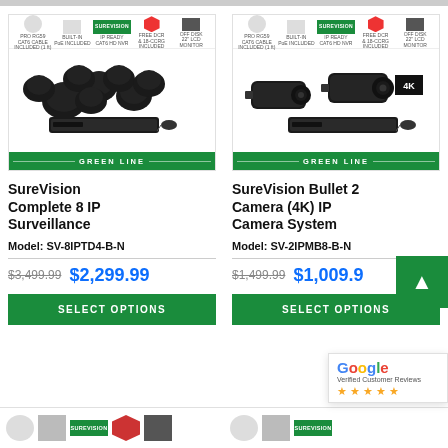[Figure (photo): SureVision Complete 8 IP Surveillance camera system product image with 8 dome cameras, NVR, and accessories. Green LINE branding bar at bottom.]
[Figure (photo): SureVision Bullet 2 Camera (4K) IP Camera System product image with 2 bullet cameras, NVR, and accessories. 4K badge visible. Green LINE branding bar at bottom.]
SureVision Complete 8 IP Surveillance
SureVision Bullet 2 Camera (4K) IP Camera System
Model: SV-8IPTD4-B-N
Model: SV-2IPMB8-B-N
$3,499.99  $2,299.99
$1,499.99  $1,009.99
SELECT OPTIONS
SELECT OPTIONS
[Figure (photo): Bottom strip showing partial product images for next products below the fold.]
[Figure (logo): Google Verified Customer Reviews badge with 5 stars.]